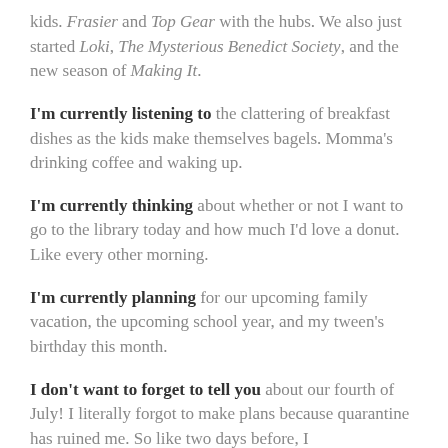kids. Frasier and Top Gear with the hubs. We also just started Loki, The Mysterious Benedict Society, and the new season of Making It.
I'm currently listening to the clattering of breakfast dishes as the kids make themselves bagels. Momma's drinking coffee and waking up.
I'm currently thinking about whether or not I want to go to the library today and how much I'd love a donut. Like every other morning.
I'm currently planning for our upcoming family vacation, the upcoming school year, and my tween's birthday this month.
I don't want to forget to tell you about our fourth of July! I literally forgot to make plans because quarantine has ruined me. So like two days before, I